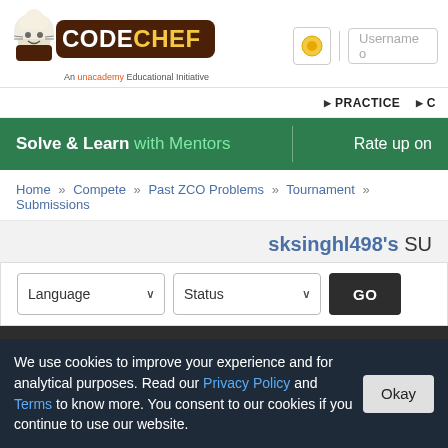[Figure (logo): CodeChef logo with chef hat icon and tagline 'An unacademy Educational Initiative']
Username o
▶ PRACTICE ▶ C
Solve & Learn with Mentors    Rate up on
Home » Compete » Past ZCO Problems » Tournament » Submissions
sksinghl498's SU
Language   Status   GO
| ID | Date/Time | Username |
| --- | --- | --- |
We use cookies to improve your experience and for analytical purposes. Read our Privacy Policy and Terms to know more. You consent to our cookies if you continue to use our website.